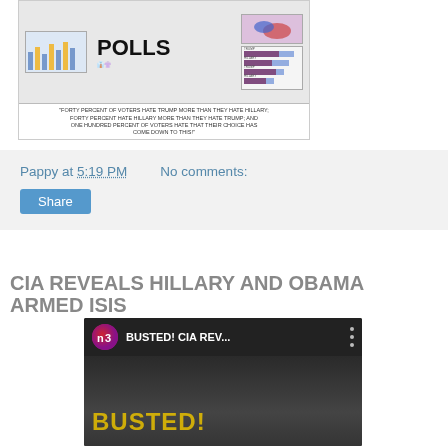[Figure (illustration): Political cartoon about polls showing 'FORTY PERCENT OF VOTERS HATE TRUMP MORE THAN THEY HATE HILLARY; FORTY PERCENT HATE HILLARY MORE THAN THEY HATE TRUMP; AND ONE HUNDRED PERCENT OF VOTERS HATE THAT THEIR CHOICE HAS COME DOWN TO THIS!' with charts and a US electoral map]
Pappy at 5:19 PM    No comments:
Share
CIA REVEALS HILLARY AND OBAMA ARMED ISIS
[Figure (screenshot): YouTube video thumbnail showing 'BUSTED! CIA REV...' with the N3 logo and a dark image with text 'BUSTED!' in yellow]